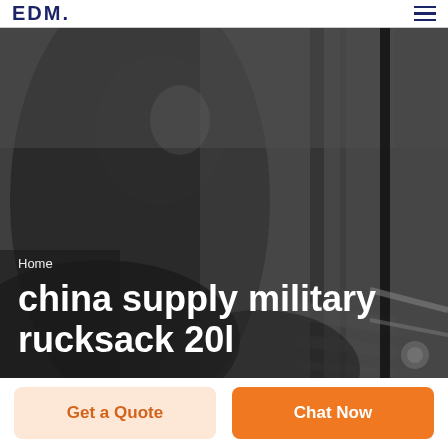EDM
[Figure (photo): Grayscale hero background photo of a man in a suit, appears to be a stock business/military supplier website hero image]
Home
china supply military rucksack 20l
Get a Quote
Chat Now